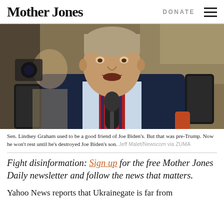Mother Jones | DONATE
[Figure (photo): Sen. Lindsey Graham speaking at a press conference surrounded by reporters holding microphones and phones]
Sen. Lindsey Graham used to be a good friend of Joe Biden's. But that was pre-Trump. Now he won't rest until he's destroyed Joe Biden's son. Jeff Malet/Newscom via ZUMA
Fight disinformation: Sign up for the free Mother Jones Daily newsletter and follow the news that matters.
Yahoo News reports that Ukrainegate is far from